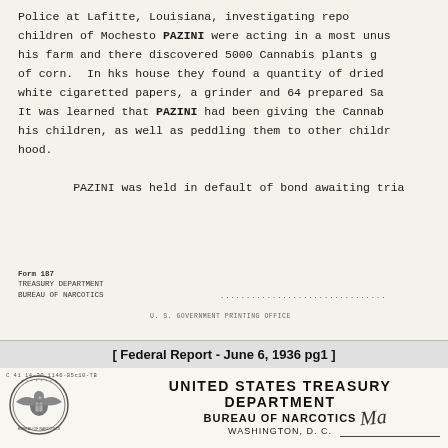Police at Lafitte, Louisiana, investigating repo... Children of Mochesto PAZINI were acting in a most unus... his farm and there discovered 5000 Cannabis plants g... of corn. In hks house they found a quantity of dried... white cigaretted papers, a grinder and 64 prepared Sa... It was learned that PAZINI had been giving the Cannab... his children, as well as peddling them to other childr... hood. PAZINI was held in default of bond awaiting tria...
Form 187 TREASURY DEPARTMENT BUREAU OF NARCOTICS
[ Federal Report - June 6, 1936 pg1 ]
[Figure (logo): Official seal of the United States Treasury Department Bureau of Narcotics, circular seal with eagle]
UNITED STATES TREASURY DEPARTMENT BUREAU OF NARCOTICS WASHINGTON, D. C.